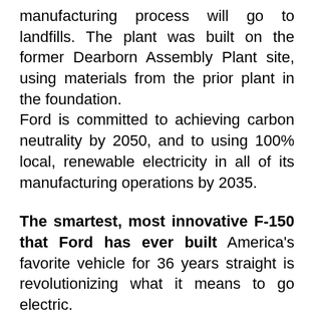manufacturing process will go to landfills. The plant was built on the former Dearborn Assembly Plant site, using materials from the prior plant in the foundation.
Ford is committed to achieving carbon neutrality by 2050, and to using 100% local, renewable electricity in all of its manufacturing operations by 2035.
The smartest, most innovative F-150 that Ford has ever built America's favorite vehicle for 36 years straight is revolutionizing what it means to go electric.
For the first time, a full-size pickup provides cavernous lockable storage to store 400 liters of